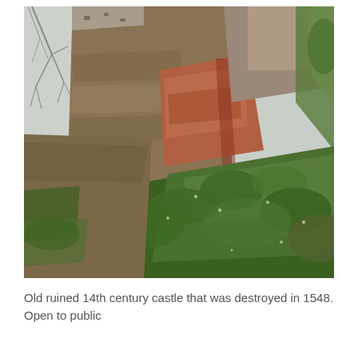[Figure (photo): An upward-angled photograph of a ruined sandstone castle tower rising above layered rock face. The rocky cliff shows reddish-brown and grey sedimentary layers. Green moss, ivy and shrubs grow across the lower slopes. Bare tree branches are visible on the upper left. The sky is pale grey-white.]
Old ruined 14th century castle that was destroyed in 1548. Open to public